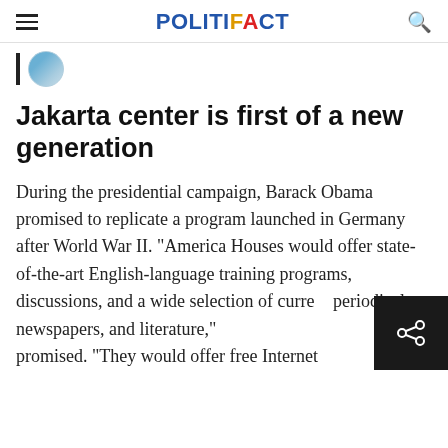POLITIFACT
[Figure (illustration): Partial avatar/profile image circle visible at top left below header]
Jakarta center is first of a new generation
During the presidential campaign, Barack Obama promised to replicate a program launched in Germany after World War II. "America Houses would offer state-of-the-art English-language training programs, discussions, and a wide selection of curre… periodicals, newspapers, and literature," promised. "They would offer free Internet…